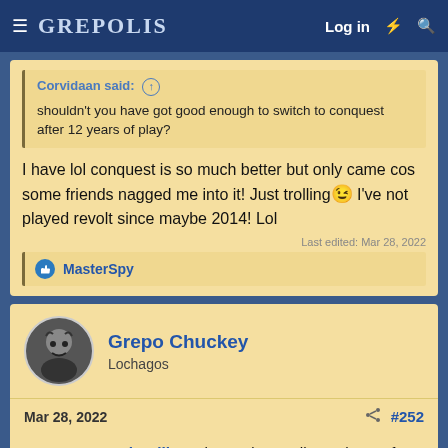GREPOLIS — Log in
Corvidaan said: ↑
shouldn't you have got good enough to switch to conquest after 12 years of play?
I have lol conquest is so much better but only came cos some friends nagged me into it! Just trolling 😉 I've not played revolt since maybe 2014! Lol
Last edited: Mar 28, 2022
👍 MasterSpy
Grepo Chuckey
Lochagos
Mar 28, 2022   #252
@Heres20BucksKillMe please don't call out players for being bad when you're sending attacks like this. Homie